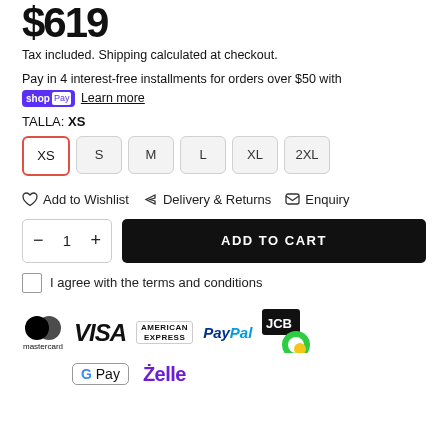Tax included. Shipping calculated at checkout.
Pay in 4 interest-free installments for orders over $50 with shop Pay Learn more
TALLA: XS
XS S M L XL 2XL
Add to Wishlist   Delivery & Returns   Enquiry
- 1 +   ADD TO CART
I agree with the terms and conditions
[Figure (logo): Payment method logos: Mastercard, VISA, American Express, PayPal, JCB, Google Pay, Zelle]